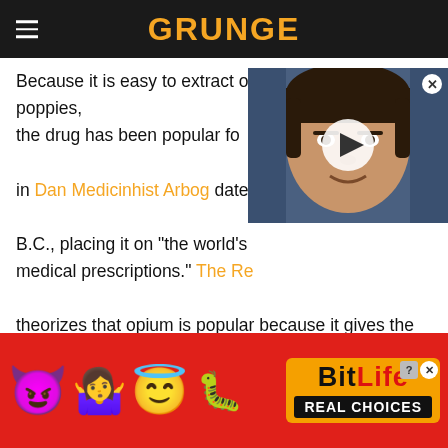GRUNGE
Because it is easy to extract opium from white poppies, the drug has been popular for [partly obscured] in Dan Medicinhist Arbog dates [obscured] B.C., placing it on "the world's [obscured] medical prescriptions." The Re[cord] theorizes that opium is popular because it gives the user a simultaneous sense of euphoria and pleasure while blocking pain and providing anti-depressant qualities. It can also be used to make heroin, oxycontin, Vicodin, and other drugs.
[Figure (photo): Video thumbnail of a man (celebrity) with a play button overlay]
[Figure (infographic): BitLife advertisement banner with emoji characters (devil, woman shrugging, angel) and BitLife logo with 'REAL CHOICES' text on red background]